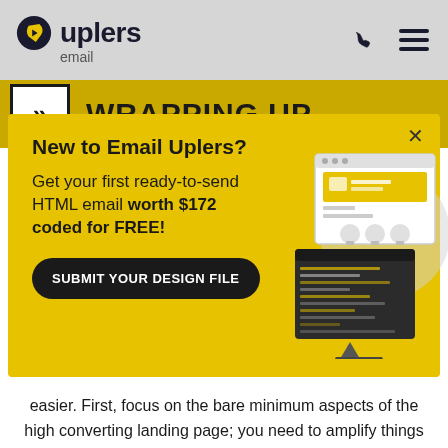uplers email
[Figure (screenshot): Email Uplers promotional popup overlay on a gold/yellow background. Shows 'New to Email Uplers?' headline, offer text 'Get your first ready-to-send HTML email worth $172 coded for FREE!', a 'SUBMIT YOUR DESIGN FILE' button, and an illustration of email/code editor on the right. An X close button is in the upper right.]
easier. First, focus on the bare minimum aspects of the high converting landing page; you need to amplify things from there. But remember, every brand is unique, and so is its target group, so it's better to sprinkle some individuality while you strive for that pitch-perfect landing